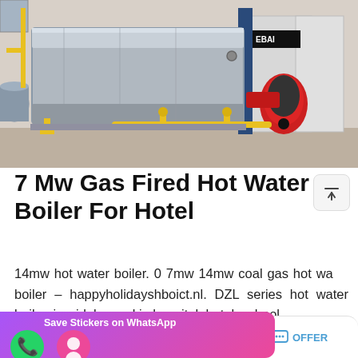[Figure (photo): Industrial gas fired hot water boiler unit in a facility, large silver/steel horizontal tank with blue vertical end cap, red burner unit on the right, yellow gas pipe fittings at the base, concrete floor, white refrigeration units visible to the right]
7 Mw Gas Fired Hot Water Boiler For Hotel
14mw hot water boiler. 0 7mw 14mw coal gas hot water boiler – happyholidayshboict.nl. DZL series hot water boiler, is widely used in hospital, hotel, school, ... gas oil fired hot water boiler Wit...
[Figure (screenshot): Save Stickers on WhatsApp banner overlay with purple-pink gradient background, WhatsApp phone icon (green circle) and a pink emoji sticker icon]
MAIL   ADVISORY   OFFER